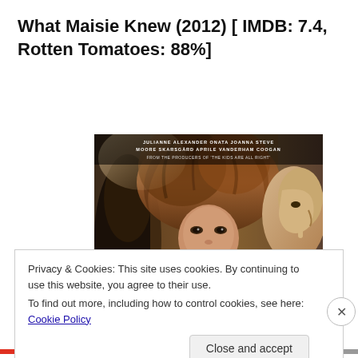What Maisie Knew (2012) [ IMDB: 7.4, Rotten Tomatoes: 88%]
[Figure (photo): Movie poster for 'What Maisie Knew' showing a young girl with brown hair in the foreground and adult figures on either side. Text at the top reads actor names: Julianne Moore, Alexander Skarsgård, Onata Aprile, Joanna Vanderham, Steve Coogan, and tagline 'From the producers of The Kids Are All Right']
Privacy & Cookies: This site uses cookies. By continuing to use this website, you agree to their use.
To find out more, including how to control cookies, see here: Cookie Policy
Close and accept